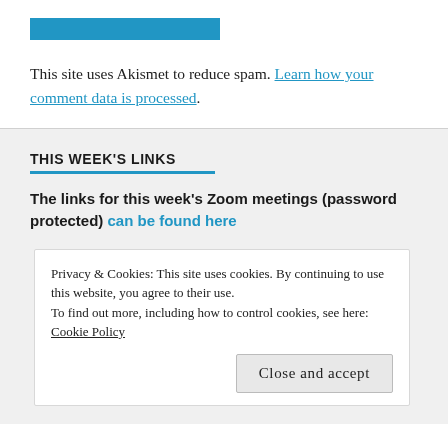[Figure (other): Blue horizontal bar at top of page]
This site uses Akismet to reduce spam. Learn how your comment data is processed.
THIS WEEK'S LINKS
The links for this week's Zoom meetings (password protected) can be found here
Privacy & Cookies: This site uses cookies. By continuing to use this website, you agree to their use.
To find out more, including how to control cookies, see here: Cookie Policy
Close and accept